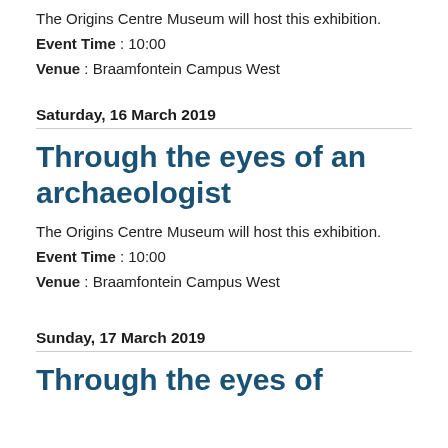The Origins Centre Museum will host this exhibition.
Event Time : 10:00
Venue : Braamfontein Campus West
Saturday, 16 March 2019
Through the eyes of an archaeologist
The Origins Centre Museum will host this exhibition.
Event Time : 10:00
Venue : Braamfontein Campus West
Sunday, 17 March 2019
Through the eyes of an